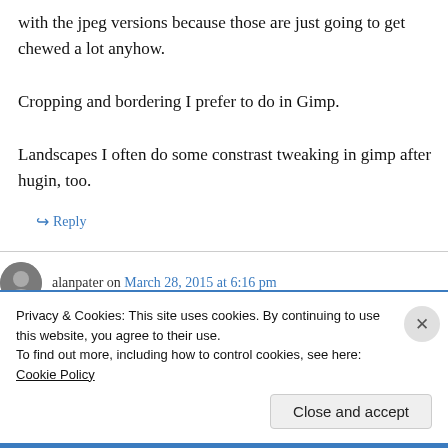with the jpeg versions because those are just going to get chewed a lot anyhow.
Cropping and bordering I prefer to do in Gimp.
Landscapes I often do some constrast tweaking in gimp after hugin, too.
↪ Reply
alanpater on March 28, 2015 at 6:16 pm
digikam works fine with Unity, no need to regress to a w95/like UI.
Privacy & Cookies: This site uses cookies. By continuing to use this website, you agree to their use.
To find out more, including how to control cookies, see here: Cookie Policy
Close and accept